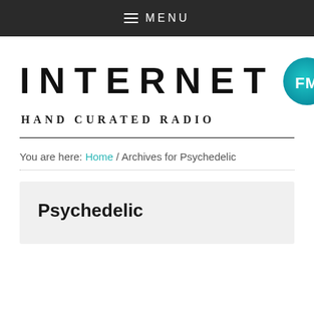≡ MENU
[Figure (logo): Internet FM Hand Curated Radio logo with FM badge and signal wave arcs]
You are here: Home / Archives for Psychedelic
Psychedelic